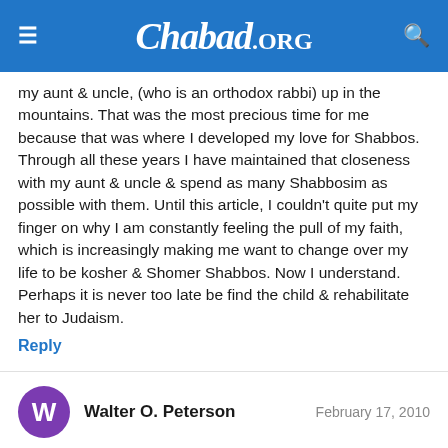Chabad.ORG
my aunt & uncle, (who is an orthodox rabbi) up in the mountains. That was the most precious time for me because that was where I developed my love for Shabbos. Through all these years I have maintained that closeness with my aunt & uncle & spend as many Shabbosim as possible with them. Until this article, I couldn't quite put my finger on why I am constantly feeling the pull of my faith, which is increasingly making me want to change over my life to be kosher & Shomer Shabbos. Now I understand. Perhaps it is never too late be find the child & rehabilitate her to Judaism.
Reply
Walter O. Peterson   February 17, 2010